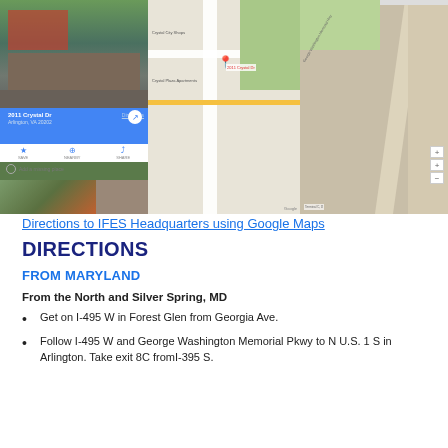[Figure (screenshot): Google Maps screenshot showing 2011 Crystal Dr, Arlington, VA with street view photos and map view]
Directions to IFES Headquarters using Google Maps
DIRECTIONS
FROM MARYLAND
From the North and Silver Spring, MD
Get on I-495 W in Forest Glen from Georgia Ave.
Follow I-495 W and George Washington Memorial Pkwy to N U.S. 1 S in Arlington. Take exit 8C fromI-395 S.